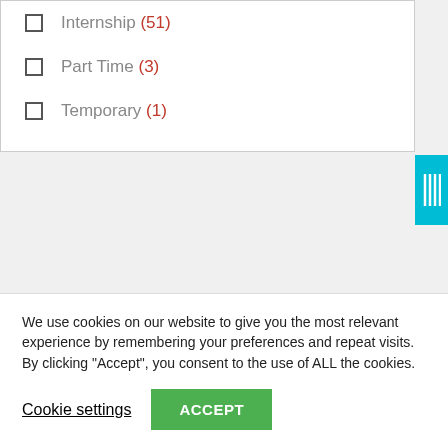Internship (51)
Part Time (3)
Temporary (1)
Partner Websites
We use cookies on our website to give you the most relevant experience by remembering your preferences and repeat visits. By clicking "Accept", you consent to the use of ALL the cookies.
Cookie settings
ACCEPT